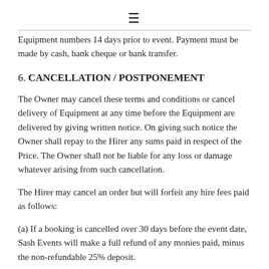≡
Equipment numbers 14 days prior to event. Payment must be made by cash, bank cheque or bank transfer.
6. CANCELLATION / POSTPONEMENT
The Owner may cancel these terms and conditions or cancel delivery of Equipment at any time before the Equipment are delivered by giving written notice. On giving such notice the Owner shall repay to the Hirer any sums paid in respect of the Price. The Owner shall not be liable for any loss or damage whatever arising from such cancellation.
The Hirer may cancel an order but will forfeit any hire fees paid as follows:
(a) If a booking is cancelled over 30 days before the event date, Sash Events will make a full refund of any monies paid, minus the non-refundable 25% deposit.